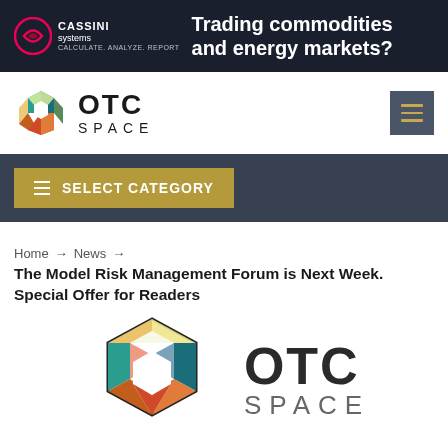[Figure (screenshot): Cassini Systems banner advertisement with text 'Trading commodities and energy markets?' on dark navy background]
[Figure (logo): OTC Space website header logo with hexagon icon and OTC SPACE text, with hamburger menu button on right]
SELECT CATEGORY
Home → News →
The Model Risk Management Forum is Next Week. Special Offer for Readers
[Figure (logo): Large OTC Space logo with colorful hexagon and OTC SPACE text]